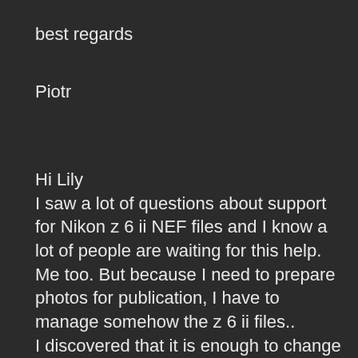best regards
Piotr
Hi Lily
I saw a lot of questions about support for Nikon z 6 ii NEF files and I know a lot of people are waiting for this help. Me too. But because I need to prepare photos for publication, I have to manage somehow the z 6 ii files..
I discovered that it is enough to change the EXIF data on the camera model from the Nikon 6 ii to the Nikon 6 - and my new Capture is doing great with photo manipulation. Unfortunately, the problem is with the EXIF...